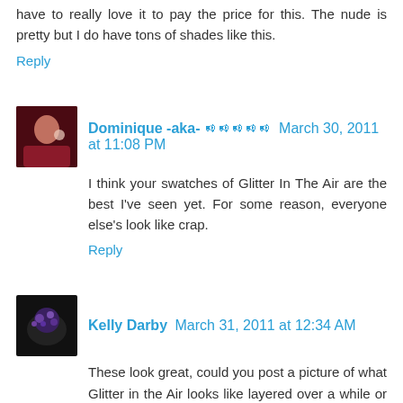have to really love it to pay the price for this. The nude is pretty but I do have tons of shades like this.
Reply
Dominique -aka- 댓글달기 March 30, 2011 at 11:08 PM
I think your swatches of Glitter In The Air are the best I've seen yet. For some reason, everyone else's look like crap.
Reply
Kelly Darby March 31, 2011 at 12:34 AM
These look great, could you post a picture of what Glitter in the Air looks like layered over a while or light blue please? :) Thank you!
Reply
Anonymous March 31, 2011 at 1:52 PM
I really like that "nude" color, though I have trouble with finding one that I like in Canada...